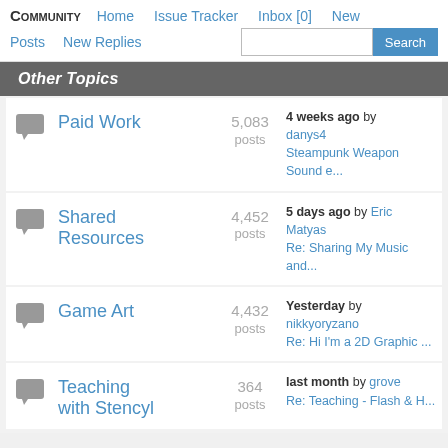Community  Home  Issue Tracker  Inbox [0]  New  Posts  New Replies  Search
Other Topics
Paid Work — 5,083 posts — 4 weeks ago by danys4 Steampunk Weapon Sound e...
Shared Resources — 4,452 posts — 5 days ago by Eric Matyas Re: Sharing My Music and...
Game Art — 4,432 posts — Yesterday by nikkyoryzano Re: Hi I'm a 2D Graphic ...
Teaching with Stencyl — 364 posts — last month by grove Re: Teaching - Flash & H...